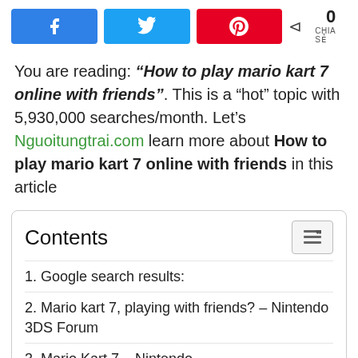[Figure (other): Social share buttons: Facebook (blue), Twitter (light blue), Pinterest (red), and a share count showing 0 CHIA SẺ]
You are reading: “How to play mario kart 7 online with friends”. This is a “hot” topic with 5,930,000 searches/month. Let’s Nguoitungtrai.com learn more about How to play mario kart 7 online with friends in this article
Contents
1. Google search results:
2. Mario kart 7, playing with friends? – Nintendo 3DS Forum
3. Mario Kart 7 – Nintendo
4. Why can’t I play with my friend? – Mario Kart 7 Q&A for 3DS